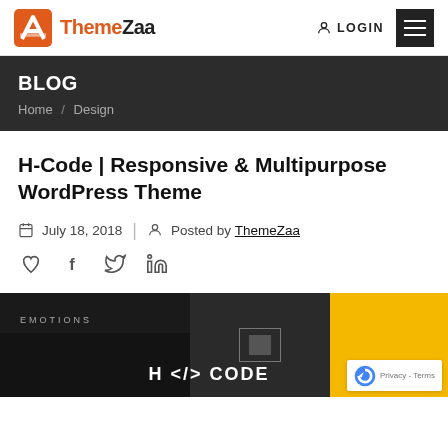ThemeZaa LOGIN
BLOG
Home / Design
H-Code | Responsive & Multipurpose WordPress Theme
July 18, 2018 | Posted by ThemeZaa
[Figure (screenshot): H-Code WordPress theme preview showing collage of dark website designs with H</> CODE logo text in center, and a yellow accent panel on the right. reCAPTCHA badge visible in bottom-right corner.]